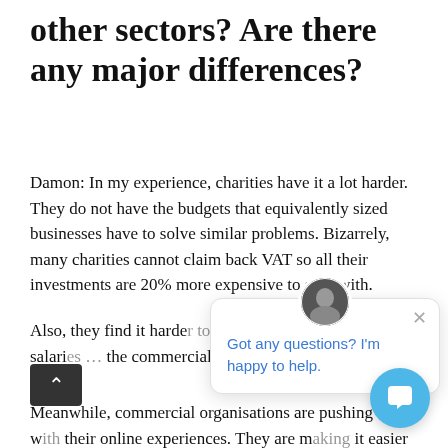other sectors? Are there any major differences?
Damon: In my experience, charities have it a lot harder. They do not have the budgets that equivalently sized businesses have to solve similar problems. Bizarrely, many charities cannot claim back VAT so all their investments are 20% more expensive to start with.
Also, they find it harde[r to attract] skills as fees and salari[es … compared to] the commercial sector[…]
Meanwhile, commercial organisations are pushing ahead w[ith] their online experiences. They are m[aking] it easier to engage real-time with their products, make payments, manage direct debits, chat and
[Figure (other): Chat widget overlay with woman avatar photo, close button (×), and message 'Got any questions? I'm happy to help.' in blue text. Also a circular back-to-top button (dark, arrow up) and a circular chat launcher button (light blue).]